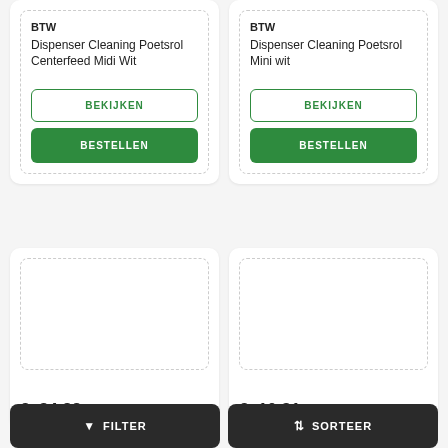BTW
Dispenser Cleaning Poetsrol Centerfeed Midi Wit
BEKIJKEN
BESTELLEN
BTW
Dispenser Cleaning Poetsrol Mini wit
BEKIJKEN
BESTELLEN
€. 34.22  € 28.28 excl.
€. 10.31  € 8.52 excl.
FILTER
SORTEER